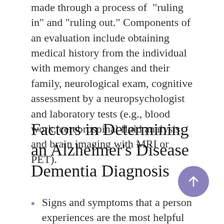made through a process of "ruling in" and "ruling out." Components of an evaluation include obtaining medical history from the individual with memory changes and their family, neurological exam, cognitive assessment by a neuropsychologist and laboratory tests (e.g., blood work, cerebrospinal fluid analysis and brain imaging with MRI or PET).
Factors in Determining an Alzheimer's Disease Dementia Diagnosis
Signs and symptoms that a person experiences are the most helpful in determining the cause of one's